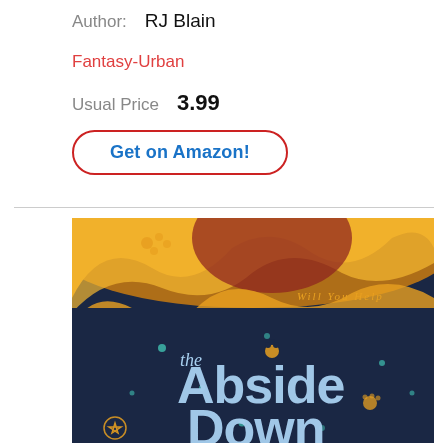Author: RJ Blain
Fantasy-Urban
Usual Price 3.99
Get on Amazon!
[Figure (illustration): Book cover for 'The Abside Down' — dark blue and gold illustrated book cover featuring swirling orange/gold flame-like tendrils, paw prints, a pentagram star, teal dots, and large stylized light-blue text reading 'the Abside Down'. Text on cover reads 'Will You Help' in gold script.]